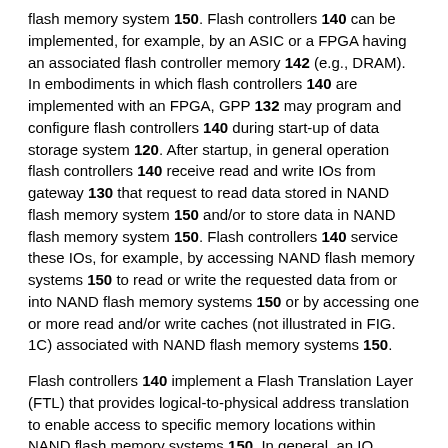flash memory system 150. Flash controllers 140 can be implemented, for example, by an ASIC or a FPGA having an associated flash controller memory 142 (e.g., DRAM). In embodiments in which flash controllers 140 are implemented with an FPGA, GPP 132 may program and configure flash controllers 140 during start-up of data storage system 120. After startup, in general operation flash controllers 140 receive read and write IOs from gateway 130 that request to read data stored in NAND flash memory system 150 and/or to store data in NAND flash memory system 150. Flash controllers 140 service these IOs, for example, by accessing NAND flash memory systems 150 to read or write the requested data from or into NAND flash memory systems 150 or by accessing one or more read and/or write caches (not illustrated in FIG. 1C) associated with NAND flash memory systems 150.
Flash controllers 140 implement a Flash Translation Layer (FTL) that provides logical-to-physical address translation to enable access to specific memory locations within NAND flash memory systems 150. In general, an IO received by flash controller 140 indicates the logical block address (LBA) at which the data is to be accessed (read or